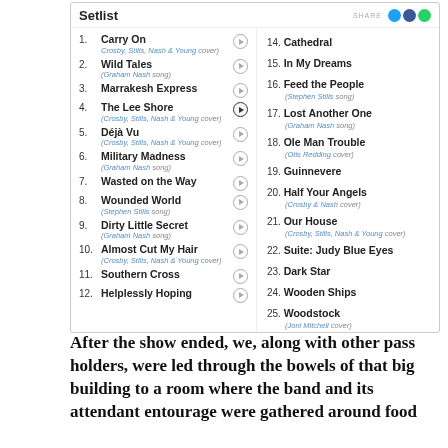[Figure (other): Setlist widget showing a concert setlist with 25 songs in two columns. Left column shows songs 1-12 with play buttons and share icons. Right column shows songs 14-25. Songs include Carry On, Wild Tales, Marrakesh Express, The Lee Shore, Déjà Vu, Military Madness, Wasted on the Way, Wounded World, Dirty Little Secret, Almost Cut My Hair, Southern Cross, Helplessly Hoping (left), and Cathedral, In My Dreams, Feed the People, Lost Another One, Ole Man Trouble, Guinnevere, Half Your Angels, Our House, Suite: Judy Blue Eyes, Dark Star, Wooden Ships, Woodstock (right).]
After the show ended, we, along with other pass holders, were led through the bowels of that big building to a room where the band and its attendant entourage were gathered around food